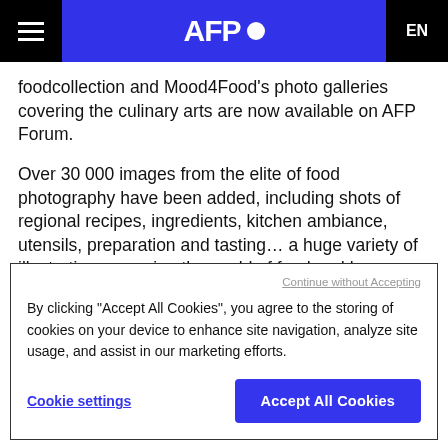AFP [logo] EN
foodcollection and Mood4Food’s photo galleries covering the culinary arts are now available on AFP Forum.
Over 30 000 images from the elite of food photography have been added, including shots of regional recipes, ingredients, kitchen ambiance, utensils, preparation and tasting… a huge variety of illustrations covering the world of food and beverage.
AFP Forum
Continue without Accepting
By clicking “Accept All Cookies”, you agree to the storing of cookies on your device to enhance site navigation, analyze site usage, and assist in our marketing efforts.
Cookie settings
Accept All Cookies